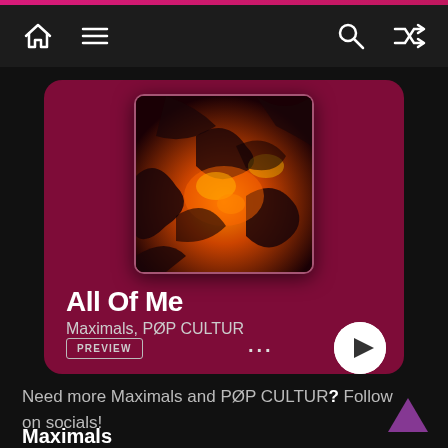Navigation bar with home, menu, search, and shuffle icons
[Figure (screenshot): Music streaming app card showing album art for 'All Of Me' by Maximals and PØP CULTUR. Dark maroon card with orange/fire textured album art, song title, artist name, preview button, three-dot menu, and play button.]
All Of Me
Maximals, PØP CULTUR
PREVIEW
Need more Maximals and PØP CULTUR? Follow on socials!
Maximals